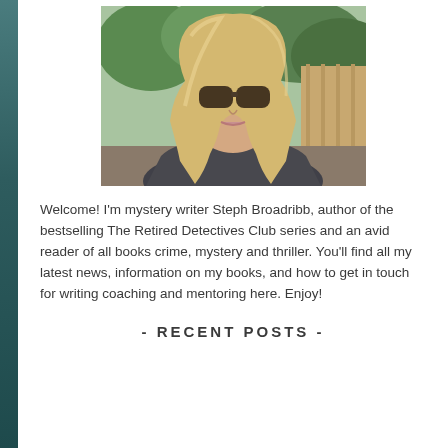[Figure (photo): Portrait photo of a blonde woman wearing large dark sunglasses, outdoors with green foliage in the background]
Welcome! I'm mystery writer Steph Broadribb, author of the bestselling The Retired Detectives Club series and an avid reader of all books crime, mystery and thriller. You'll find all my latest news, information on my books, and how to get in touch for writing coaching and mentoring here. Enjoy!
- RECENT POSTS -